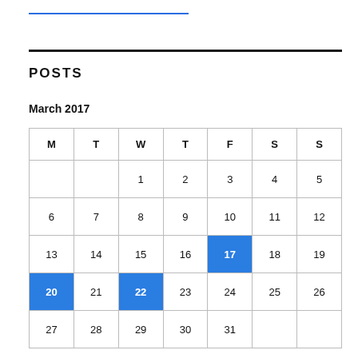POSTS
March 2017
| M | T | W | T | F | S | S |
| --- | --- | --- | --- | --- | --- | --- |
|  |  | 1 | 2 | 3 | 4 | 5 |
| 6 | 7 | 8 | 9 | 10 | 11 | 12 |
| 13 | 14 | 15 | 16 | 17 | 18 | 19 |
| 20 | 21 | 22 | 23 | 24 | 25 | 26 |
| 27 | 28 | 29 | 30 | 31 |  |  |